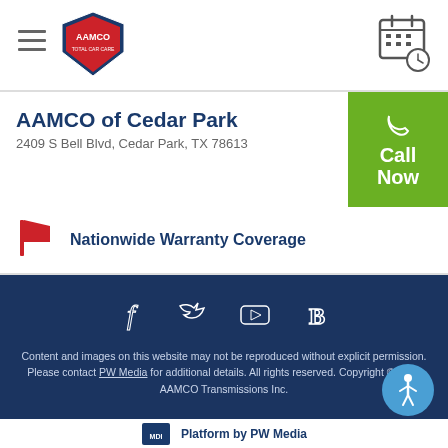AAMCO (logo) — hamburger menu and calendar icon in header
AAMCO of Cedar Park
2409 S Bell Blvd, Cedar Park, TX 78613
Call Now
Nationwide Warranty Coverage
Content and images on this website may not be reproduced without explicit permission. Please contact PW Media for additional details. All rights reserved. Copyright © 2022 AAMCO Transmissions Inc.
Platform by PW Media